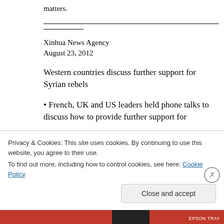matters.
Xinhua News Agency
August 23, 2012
Western countries discuss further support for Syrian rebels
• French, UK and US leaders held phone talks to discuss how to provide further support for
Privacy & Cookies: This site uses cookies. By continuing to use this website, you agree to their use. To find out more, including how to control cookies, see here: Cookie Policy